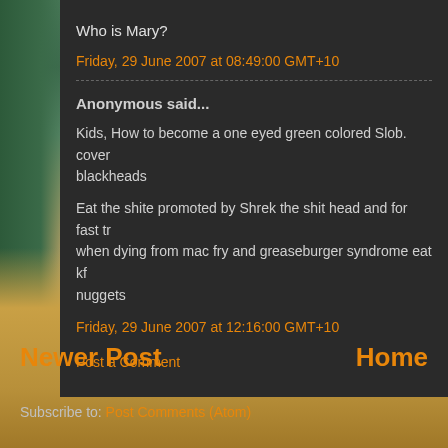Who is Mary?
Friday, 29 June 2007 at 08:49:00 GMT+10
Anonymous said...
Kids, How to become a one eyed green colored Slob. cover blackheads
Eat the shite promoted by Shrek the shit head and for fast tr when dying from mac fry and greaseburger syndrome eat kf nuggets
Friday, 29 June 2007 at 12:16:00 GMT+10
Post a Comment
Newer Post
Home
Subscribe to: Post Comments (Atom)